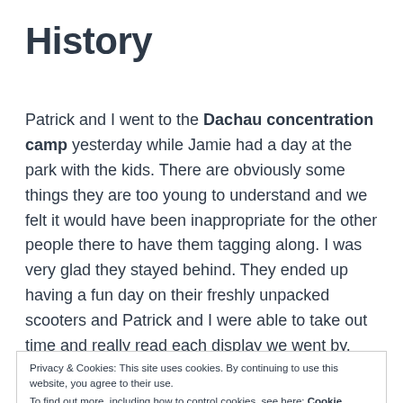History
Patrick and I went to the Dachau concentration camp yesterday while Jamie had a day at the park with the kids. There are obviously some things they are too young to understand and we felt it would have been inappropriate for the other people there to have them tagging along. I was very glad they stayed behind. They ended up having a fun day on their freshly unpacked scooters and Patrick and I were able to take out time and really read each display we went by, sometimes
Privacy & Cookies: This site uses cookies. By continuing to use this website, you agree to their use.
To find out more, including how to control cookies, see here: Cookie Policy
was scary, it was horrifying, It was all of those things, It